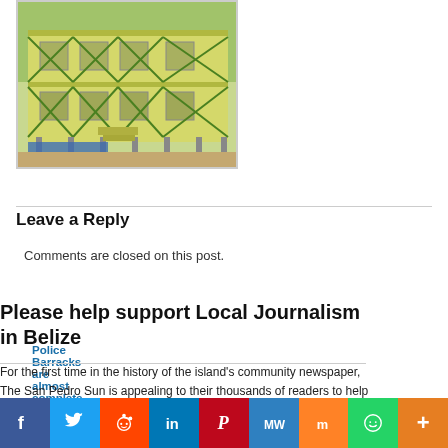[Figure (photo): Photo of police barracks building under construction — yellow-green two-storey structure with green cross-braced railings, windows, wooden stilts/supports, blue tarp at base, lush green trees behind]
Police Barracks are almost complete
Leave a Reply
Comments are closed on this post.
Please help support Local Journalism in Belize
For the first time in the history of the island's community newspaper, The San Pedro Sun is appealing to their thousands of readers to help support the paper during the COVID-19 pandemic. Since 1991 we have tirelessly provided vital local and national news. Now, more than ever, our community depends on us for trustworthy
[Figure (infographic): Social media sharing bar with icons: Facebook (blue), Twitter (light blue), Reddit (orange-red), LinkedIn (dark blue), Pinterest (red), MW (medium blue), Mix (orange), WhatsApp (green), More (dark orange)]